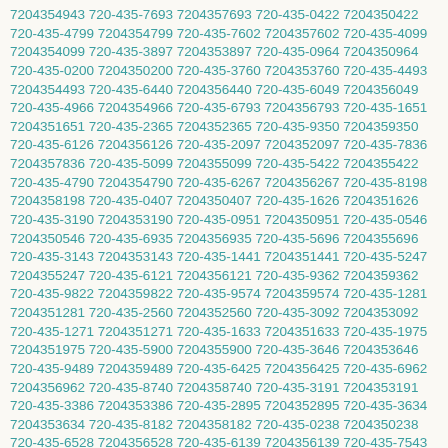7204354943 720-435-7693 7204357693 720-435-0422 7204350422 720-435-4799 7204354799 720-435-7602 7204357602 720-435-4099 7204354099 720-435-3897 7204353897 720-435-0964 7204350964 720-435-0200 7204350200 720-435-3760 7204353760 720-435-4493 7204354493 720-435-6440 7204356440 720-435-6049 7204356049 720-435-4966 7204354966 720-435-6793 7204356793 720-435-1651 7204351651 720-435-2365 7204352365 720-435-9350 7204359350 720-435-6126 7204356126 720-435-2097 7204352097 720-435-7836 7204357836 720-435-5099 7204355099 720-435-5422 7204355422 720-435-4790 7204354790 720-435-6267 7204356267 720-435-8198 7204358198 720-435-0407 7204350407 720-435-1626 7204351626 720-435-3190 7204353190 720-435-0951 7204350951 720-435-0546 7204350546 720-435-6935 7204356935 720-435-5696 7204355696 720-435-3143 7204353143 720-435-1441 7204351441 720-435-5247 7204355247 720-435-6121 7204356121 720-435-9362 7204359362 720-435-9822 7204359822 720-435-9574 7204359574 720-435-1281 7204351281 720-435-2560 7204352560 720-435-3092 7204353092 720-435-1271 7204351271 720-435-1633 7204351633 720-435-1975 7204351975 720-435-5900 7204355900 720-435-3646 7204353646 720-435-9489 7204359489 720-435-6425 7204356425 720-435-6962 7204356962 720-435-8740 7204358740 720-435-3191 7204353191 720-435-3386 7204353386 720-435-2895 7204352895 720-435-3634 7204353634 720-435-8182 7204358182 720-435-0238 7204350238 720-435-6528 7204356528 720-435-6139 7204356139 720-435-7543 7204357543 720-435-4682 7204354682 720-435-3084 7204353084 720-435-8384 7204358384 720-435-7297 7204357297 720-435-9691 7204359691 720-435-1403 7204351403 720-435-3086 7204353086 720-